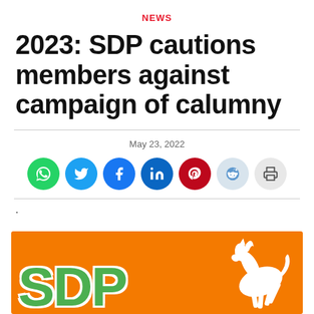NEWS
2023: SDP cautions members against campaign of calumny
May 23, 2022
[Figure (infographic): Social media share buttons: WhatsApp, Twitter, Facebook, LinkedIn, Pinterest, Reddit, Print]
.
[Figure (photo): SDP party logo on orange background with white horse — green SDP letters with white outline on orange background, white horse rearing on the right side]